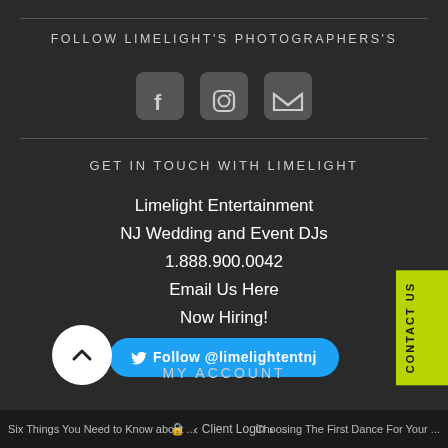FOLLOW LIMELIGHT'S PHOTOGRAPHERS'S
[Figure (illustration): Three social media icons: Facebook (f), Instagram (camera), and Email (envelope), each in a rounded gray square]
GET IN TOUCH WITH LIMELIGHT
Limelight Entertainment
NJ Wedding and Event DJs
1.888.900.0042
Email Us Here
Now Hiring!
Follow @limelightentnj
MY ACCOUNT
Six Things You Need to Know about ... | Client Login | Choosing The First Dance For Your ...